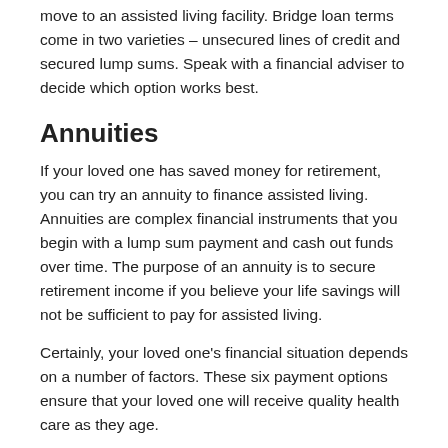move to an assisted living facility. Bridge loan terms come in two varieties – unsecured lines of credit and secured lump sums. Speak with a financial adviser to decide which option works best.
Annuities
If your loved one has saved money for retirement, you can try an annuity to finance assisted living. Annuities are complex financial instruments that you begin with a lump sum payment and cash out funds over time. The purpose of an annuity is to secure retirement income if you believe your life savings will not be sufficient to pay for assisted living.
Certainly, your loved one's financial situation depends on a number of factors. These six payment options ensure that your loved one will receive quality health care as they age.
Popular Blog Tags